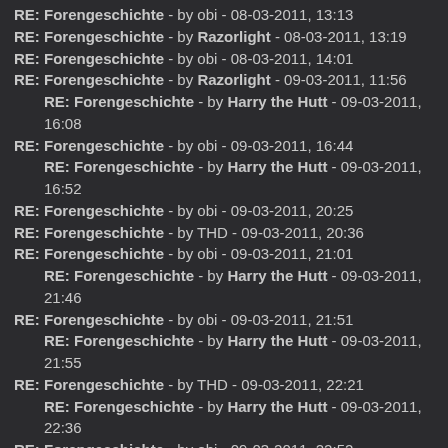RE: Forengeschichte - by obi - 08-03-2011, 13:13
RE: Forengeschichte - by Razorlight - 08-03-2011, 13:19
RE: Forengeschichte - by obi - 08-03-2011, 14:01
RE: Forengeschichte - by Razorlight - 09-03-2011, 11:56
RE: Forengeschichte - by Harry the Hutt - 09-03-2011, 16:08
RE: Forengeschichte - by obi - 09-03-2011, 16:44
RE: Forengeschichte - by Harry the Hutt - 09-03-2011, 16:52
RE: Forengeschichte - by obi - 09-03-2011, 20:25
RE: Forengeschichte - by THD - 09-03-2011, 20:36
RE: Forengeschichte - by obi - 09-03-2011, 21:01
RE: Forengeschichte - by Harry the Hutt - 09-03-2011, 21:46
RE: Forengeschichte - by obi - 09-03-2011, 21:51
RE: Forengeschichte - by Harry the Hutt - 09-03-2011, 21:55
RE: Forengeschichte - by THD - 09-03-2011, 22:21
RE: Forengeschichte - by Harry the Hutt - 09-03-2011, 22:36
RE: Forengeschichte - by obi - 09-03-2011, 22:52
RE: Forengeschichte - by Razorlight - 10-03-2011, 12:39
RE: Forengeschichte - by Harry the Hutt - 10-03-2011, 16:14
RE: Forengeschichte - by obi - 10-03-2011, 17:41